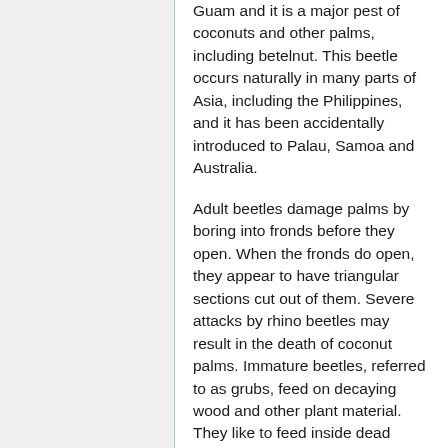Guam and it is a major pest of coconuts and other palms, including betelnut. This beetle occurs naturally in many parts of Asia, including the Philippines, and it has been accidentally introduced to Palau, Samoa and Australia.
Adult beetles damage palms by boring into fronds before they open. When the fronds do open, they appear to have triangular sections cut out of them. Severe attacks by rhino beetles may result in the death of coconut palms. Immature beetles, referred to as grubs, feed on decaying wood and other plant material. They like to feed inside dead coconuts which are still standing.
During this past week, teams from the Department of Agriculture and the University of Guam have surveyed the island to find the rhino beetle infestation